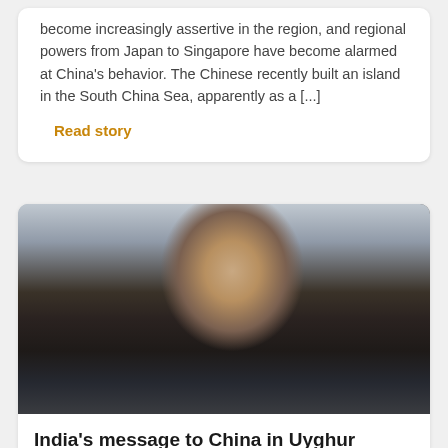become increasingly assertive in the region, and regional powers from Japan to Singapore have become alarmed at China's behavior. The Chinese recently built an island in the South China Sea, apparently as a [...]
Read story
[Figure (photo): Portrait photo of a middle-aged man wearing a dark suit jacket and light blue tie, with a headset on, seated in what appears to be a conference or meeting room setting.]
India's message to China in Uyghur